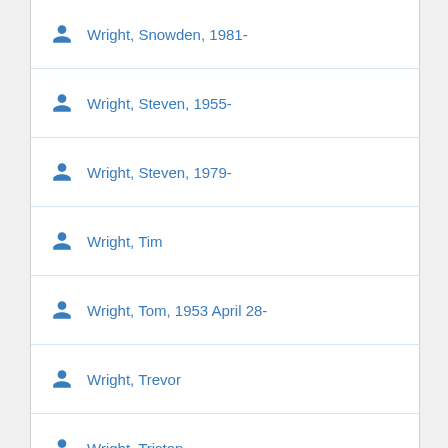Wright, Snowden, 1981-
Wright, Steven, 1955-
Wright, Steven, 1979-
Wright, Tim
Wright, Tom, 1953 April 28-
Wright, Trevor
Wright, Tristan
Wright, Vonda
Wright, Wilbur, 1867-1912
Wright, Wilbur, 1867-1912
Wright, Wilbur, 1867-1912